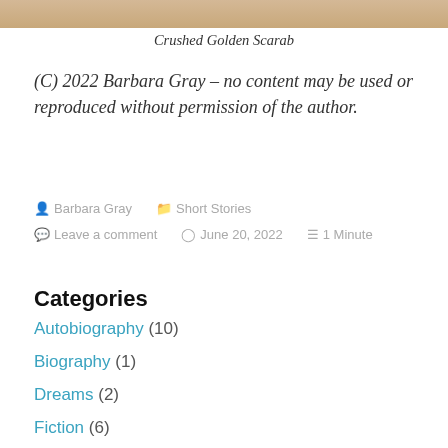[Figure (photo): Top portion of an image showing a golden scarab, cropped at the top of the page]
Crushed Golden Scarab
(C) 2022 Barbara Gray – no content may be used or reproduced without permission of the author.
Barbara Gray   Short Stories   Leave a comment   June 20, 2022   1 Minute
Categories
Autobiography (10)
Biography (1)
Dreams (2)
Fiction (6)
Nonfiction (10)